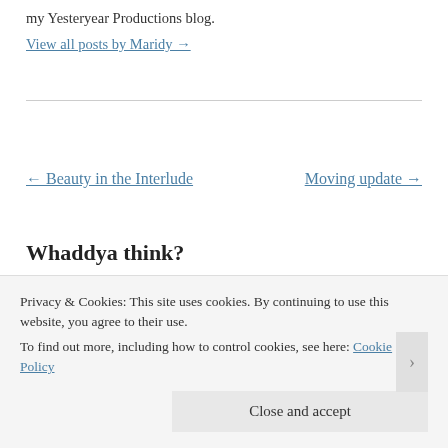my Yesteryear Productions blog.
View all posts by Maridy →
← Beauty in the Interlude
Moving update →
Whaddya think?
Your email address will not be published. Required fields
Privacy & Cookies: This site uses cookies. By continuing to use this website, you agree to their use.
To find out more, including how to control cookies, see here: Cookie Policy
Close and accept